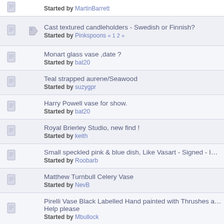Started by MartinBarrett
Cast textured candleholders - Swedish or Finnish? Started by Pinkspoons « 1 2 »
Monart glass vase ,date ? Started by bat20
Teal strapped aurene/Seawood Started by suzygpr
Harry Powell vase for show. Started by bat20
Royal Brierley Studio, new find ! Started by keith
Small speckled pink & blue dish, Like Vasart - Signed - ID = Cowdy Started by Roobarb
Matthew Turnbull Celery Vase Started by NevB
Pirelli Vase Black Labelled Hand painted with Thrushes and Thistles Help please Started by Mbullock
Possible Dial Art glass vase. Started by keith
1920s Richardson wine glasses Started by glassobsessed « 1 2 »